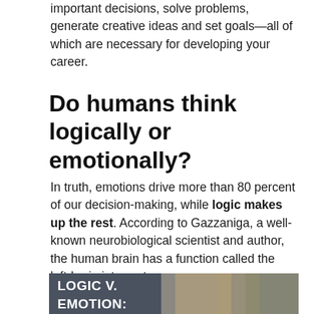important decisions, solve problems, generate creative ideas and set goals—all of which are necessary for developing your career.
Do humans think logically or emotionally?
In truth, emotions drive more than 80 percent of our decision-making, while logic makes up the rest. According to Gazzaniga, a well-known neurobiological scientist and author, the human brain has a function called the left-brain interpreter.
[Figure (photo): Photo of a blonde woman with text overlay reading 'LOGIC V. EMOTION:' on a dark background on the left side]